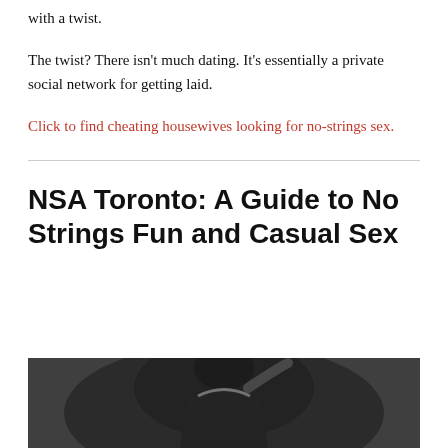with a twist.
The twist? There isn't much dating. It's essentially a private social network for getting laid.
Click to find cheating housewives looking for no-strings sex.
NSA Toronto: A Guide to No Strings Fun and Casual Sex
[Figure (photo): Black and white photo of a person, partially visible, dark background]